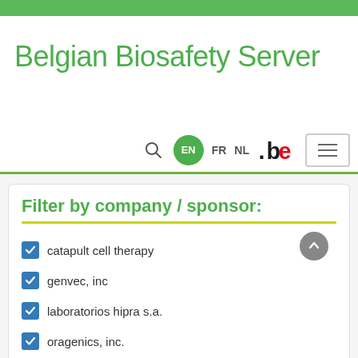Belgian Biosafety Server
Filter by company / sponsor:
catapult cell therapy
genvec, inc
laboratorios hipra s.a.
oragenics, inc.